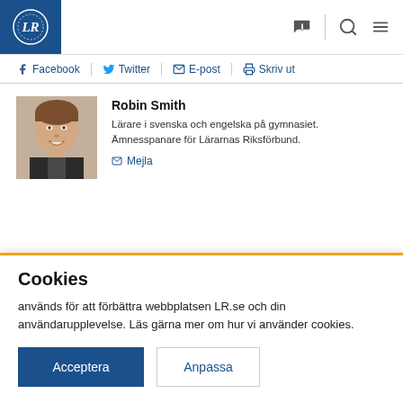LR logo header with navigation icons
Facebook | Twitter | E-post | Skriv ut
Robin Smith
Lärare i svenska och engelska på gymnasiet. Ämnesspanare för Lärarnas Riksförbund.
Mejla
[Figure (photo): Headshot photo of Robin Smith, a young man smiling in a suit]
Cookies
används för att förbättra webbplatsen LR.se och din användarupplevelse. Läs gärna mer om hur vi använder cookies.
Acceptera | Anpassa